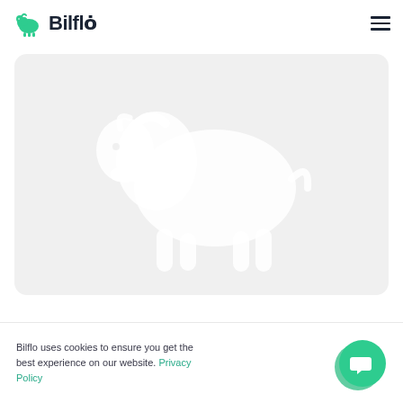[Figure (logo): Bilflo logo: green bison icon with bold dark text 'Bilflo' and dot above the 'o']
[Figure (illustration): Light grey rounded rectangle card with a large white bison/buffalo silhouette watermark in the center]
Bilflo uses cookies to ensure you get the best experience on our website. Privacy Policy
[Figure (other): Green circular chat/support button widget in bottom right corner]